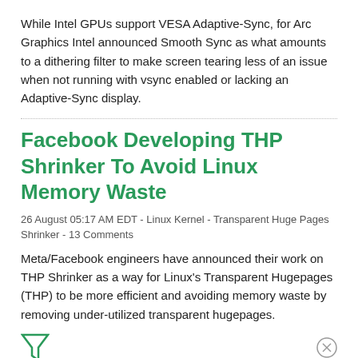While Intel GPUs support VESA Adaptive-Sync, for Arc Graphics Intel announced Smooth Sync as what amounts to a dithering filter to make screen tearing less of an issue when not running with vsync enabled or lacking an Adaptive-Sync display.
Facebook Developing THP Shrinker To Avoid Linux Memory Waste
26 August 05:17 AM EDT - Linux Kernel - Transparent Huge Pages Shrinker - 13 Comments
Meta/Facebook engineers have announced their work on THP Shrinker as a way for Linux's Transparent Hugepages (THP) to be more efficient and avoiding memory waste by removing under-utilized transparent hugepages.
[Figure (other): Seamless food delivery advertisement banner with pizza image, Seamless logo, and ORDER NOW button]